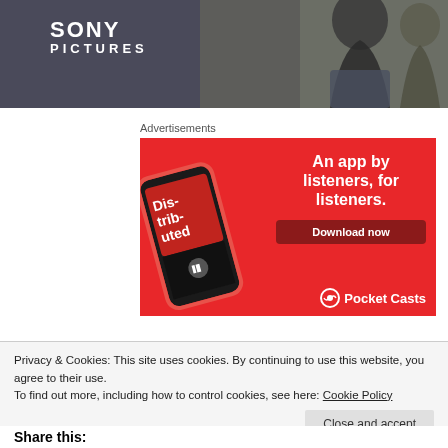[Figure (photo): Sony Pictures banner image showing a person in profile against a dark cinematic background, with SONY PICTURES logo in top left]
Advertisements
[Figure (photo): Pocket Casts advertisement on red background showing a smartphone with the Distributed podcast app, tagline 'An app by listeners, for listeners.' with a Download now button and Pocket Casts logo]
Privacy & Cookies: This site uses cookies. By continuing to use this website, you agree to their use.
To find out more, including how to control cookies, see here: Cookie Policy
Close and accept
Share this: